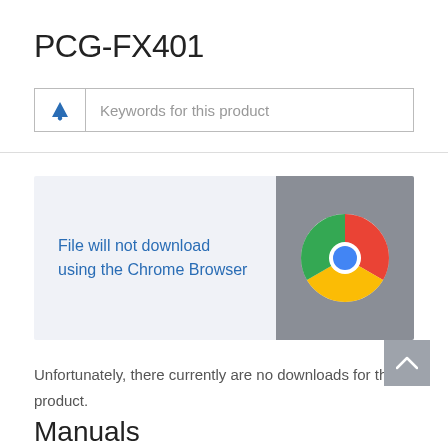PCG-FX401
Keywords for this product
[Figure (screenshot): Chrome browser notice banner with text 'File will not download using the Chrome Browser' on the left and Chrome browser logo on a grey background on the right]
Unfortunately, there currently are no downloads for this product.
Manuals